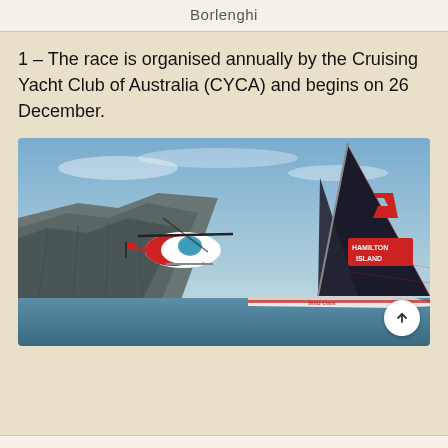Borlenghi
1 – The race is organised annually by the Cruising Yacht Club of Australia (CYCA) and begins on 26 December.
[Figure (photo): A racing yacht with a large dark sail bearing a red '7' logo and 'Hamilton Island' text sails on open water near a cliff face, with a red and white helicopter flying alongside.]